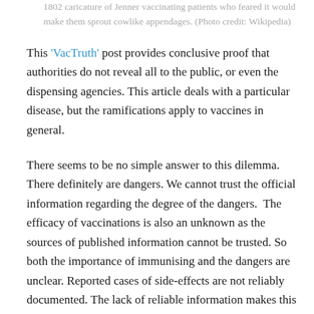1802 caricature of Jenner vaccinating patients who feared it would make them sprout cowlike appendages. (Photo credit: Wikipedia)
This 'VacTruth' post provides conclusive proof that authorities do not reveal all to the public, or even the dispensing agencies. This article deals with a particular disease, but the ramifications apply to vaccines in general.
There seems to be no simple answer to this dilemma. There definitely are dangers. We cannot trust the official information regarding the degree of the dangers.  The efficacy of vaccinations is also an unknown as the sources of published information cannot be trusted. So both the importance of immunising and the dangers are unclear. Reported cases of side-effects are not reliably documented. The lack of reliable information makes this a lottery situation. The persons at risk may be a minority, but